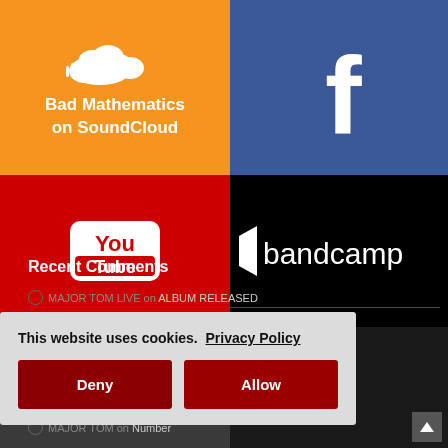[Figure (logo): SoundCloud logo tile in orange with cloud icon and text 'Bad Mathematics on SoundCloud']
[Figure (logo): Facebook logo tile in blue with white f icon]
[Figure (logo): YouTube logo tile in red with YouTube icon]
[Figure (logo): Bandcamp logo tile in black with bandcamp logo]
[Figure (logo): ReverbNation logo tile in dark gray with star and REVERBNATION text]
Recent Comments
MAJOR TOM LIVE on ALBUM RELEASED
MAJOR TOM on Faithchanger
MAJOR TOM on Number
MAJOR TOM on The New Look Blog
This website uses cookies. Privacy Policy
Deny
Allow